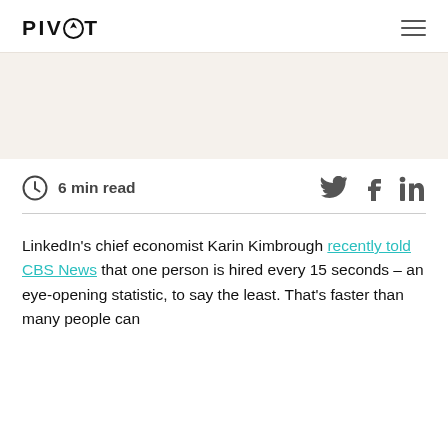PIVOT
6 min read
LinkedIn's chief economist Karin Kimbrough recently told CBS News that one person is hired every 15 seconds – an eye-opening statistic, to say the least. That's faster than many people can